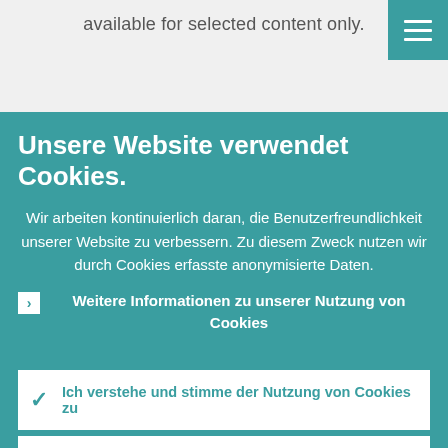available for selected content only.
[Figure (screenshot): Website menu hamburger button (teal background with three white horizontal lines)]
Unsere Website verwendet Cookies.
Wir arbeiten kontinuierlich daran, die Benutzerfreundlichkeit unserer Website zu verbessern. Zu diesem Zweck nutzen wir durch Cookies erfasste anonymisierte Daten.
Weitere Informationen zu unserer Nutzung von Cookies
Ich verstehe und stimme der Nutzung von Cookies zu
Ich stimme der Nutzung von Cookies nicht zu